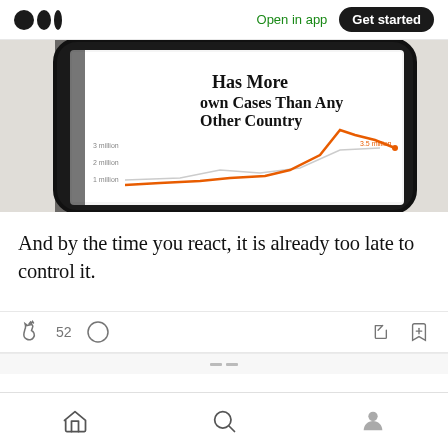Medium logo | Open in app | Get started
[Figure (photo): Smartphone displaying a news article with a chart showing COVID-19 case counts, with headline partially visible reading '...own Cases Than Any Other Country'. Chart shows an orange spike line.]
And by the time you react, it is already too late to control it.
52 claps, comment, share, bookmark icons; home, search, profile navigation